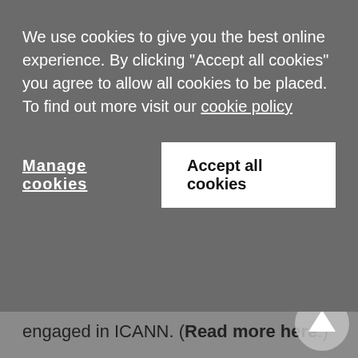We use cookies to give you the best online experience. By clicking "Accept all cookies" you agree to allow all cookies to be placed. To find out more visit our cookie policy
Manage cookies
Accept all cookies
engaged in ICANN. (Read more here.)
Meanwhile, the EUIPO has released draft guidance that is likely to form the best practice for examining absolute and relative grounds for invalidity and refusal of new types of trademark at the office. While the documents bring clarity on what will probably be accepted and rejected for sound, motion, multimedia and hologram mark applications, some practitioners are